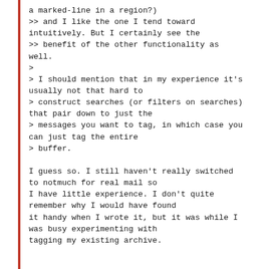a marked-line in a region?)
>> and I like the one I tend toward
intuitively. But I certainly see the
>> benefit of the other functionality as
well.
>
> I should mention that in my experience it's
usually not that hard to
> construct searches (or filters on searches)
that pair down to just the
> messages you want to tag, in which case you
can just tag the entire
> buffer.

I guess so. I still haven't really switched
to notmuch for real mail so
I have little experience. I don't quite
remember why I would have found
it handy when I wrote it, but it was while I
was busy experimenting with
tagging my existing archive.